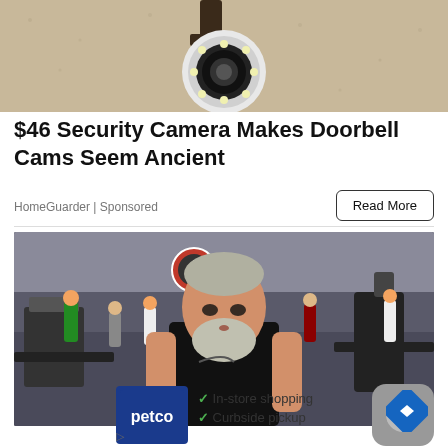[Figure (photo): Security camera mounted on wall, round white device with LED lights]
$46 Security Camera Makes Doorbell Cams Seem Ancient
HomeGuarder | Sponsored
Read More
[Figure (photo): Older man with white beard in black sleeveless shirt at a gym, selfie-style photo]
[Figure (logo): Petco logo on blue background]
In-store shopping
Curbside pickup